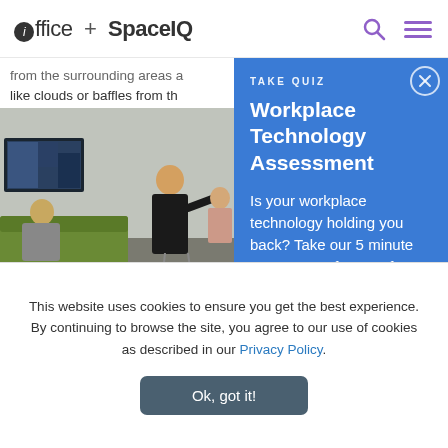ioffice + SpaceIQ
from the surrounding areas and like clouds or baffles from th
[Figure (photo): Office lounge scene: person sitting on green sofa watching a screen while another person stands and gestures, glass partition visible on right]
Workplace Technology Assessment
TAKE QUIZ
Is your workplace technology holding you back? Take our 5 minute assessment for your free
This website uses cookies to ensure you get the best experience. By continuing to browse the site, you agree to our use of cookies as described in our Privacy Policy.